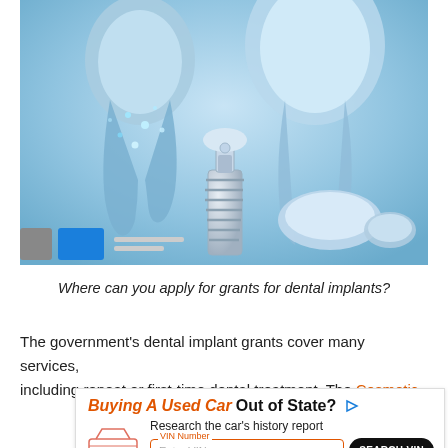[Figure (illustration): 3D illustration of dental implants — blue translucent teeth with glowing particles, a screw implant, abutment and crown components on a light blue gradient background. Navigation dots visible at bottom left of image.]
Where can you apply for grants for dental implants?
The government's dental implant grants cover many services, including repeat or first-time dental treatment. The Cosmetic
[Figure (advertisement): Advertisement banner: 'Buying A Used Car Out of State?' with a car icon, VIN number search field, SEARCH VIN button, and Bumper logo. Prompts user to research car history report.]